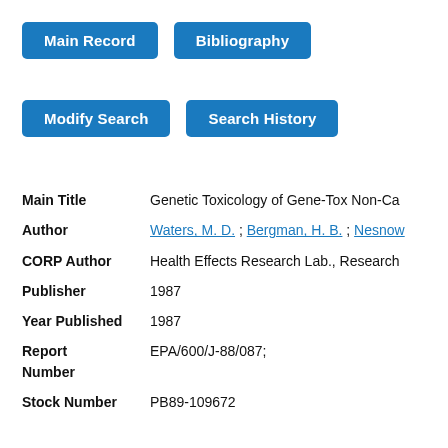Main Record
Bibliography
Modify Search
Search History
| Field | Value |
| --- | --- |
| Main Title | Genetic Toxicology of Gene-Tox Non-Ca… |
| Author | Waters, M. D. ; Bergman, H. B. ; Nesnow… |
| CORP Author | Health Effects Research Lab., Research… |
| Publisher | 1987 |
| Year Published | 1987 |
| Report Number | EPA/600/J-88/087; |
| Stock Number | PB89-109672 |